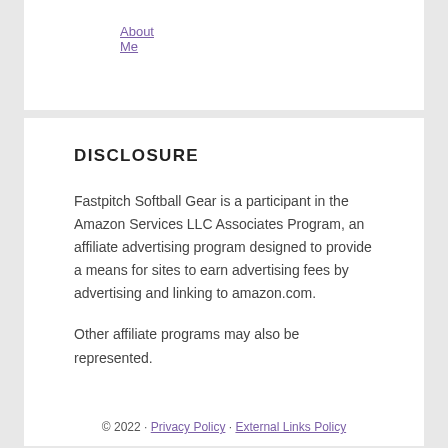About Me
DISCLOSURE
Fastpitch Softball Gear is a participant in the Amazon Services LLC Associates Program, an affiliate advertising program designed to provide a means for sites to earn advertising fees by advertising and linking to amazon.com.
Other affiliate programs may also be represented.
© 2022 · Privacy Policy · External Links Policy